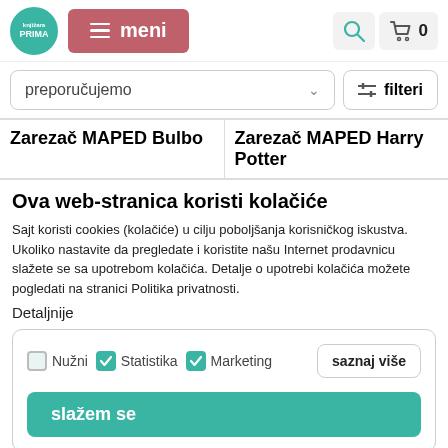[Figure (screenshot): Website header with knjižara PRIMA logo (teal circle), pink/red menu button labeled 'meni' with hamburger icon, search icon, shopping cart icon, and '0' count on the right side.]
preporučujemo
filteri
Zarezač MAPED Bulbo
Zarezač MAPED Harry Potter
Ova web-stranica koristi kolačiće
Sajt koristi cookies (kolačiće) u cilju poboljšanja korisničkog iskustva. Ukoliko nastavite da pregledate i koristite našu Internet prodavnicu slažete se sa upotrebom kolačića. Detalje o upotrebi kolačića možete pogledati na stranici Politika privatnosti.
Detaljnije
Nužni   Statistika   Marketing   saznaj više
slažem se